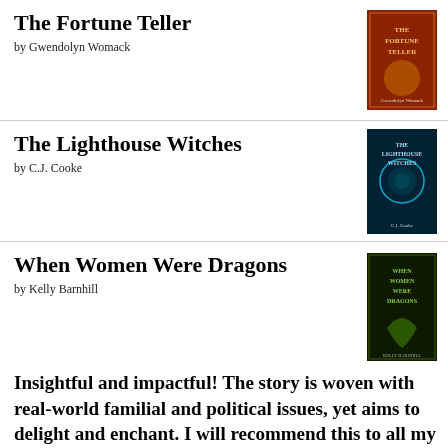The Fortune Teller
by Gwendolyn Womack
The Lighthouse Witches
by C.J. Cooke
When Women Were Dragons
by Kelly Barnhill
Insightful and impactful! The story is woven with real-world familial and political issues, yet aims to delight and enchant. I will recommend this to all my friends.
Coffee House Writers 2020 Anthology: Volume 1: Poetry & Nonfiction
by Jess Knueppel
Treasured Claim
by Jami Gold